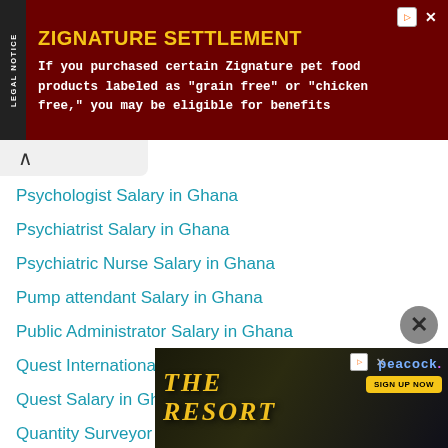[Figure (other): Advertisement banner for Zignature Settlement legal notice with dark red background, yellow title text 'ZIGNATURE SETTLEMENT' and white body text about pet food class action.]
Psychologist Salary in Ghana
Psychiatrist Salary in Ghana
Psychiatric Nurse Salary in Ghana
Pump attendant Salary in Ghana
Public Administrator Salary in Ghana
Quest International Salary in Ghana
Quest Salary in Ghana
Quantity Surveyor Salary in Ghana
Radiog...
[Figure (other): Advertisement for 'The Resort' on Peacock streaming service with dark background and sign up now button.]